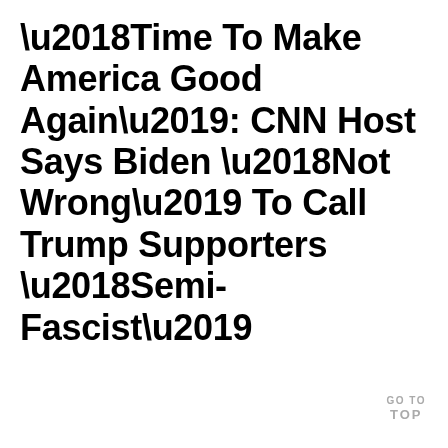‘Time To Make America Good Again’: CNN Host Says Biden ‘Not Wrong’ To Call Trump Supporters ‘Semi-Fascist’
GO TO TOP